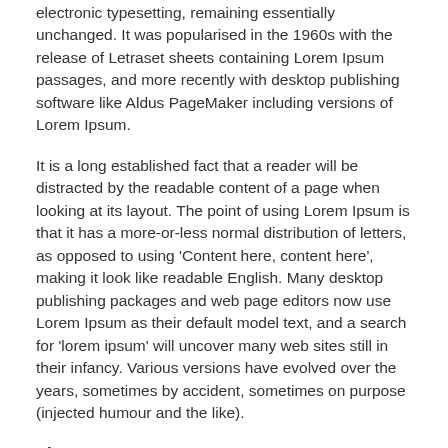electronic typesetting, remaining essentially unchanged. It was popularised in the 1960s with the release of Letraset sheets containing Lorem Ipsum passages, and more recently with desktop publishing software like Aldus PageMaker including versions of Lorem Ipsum.
It is a long established fact that a reader will be distracted by the readable content of a page when looking at its layout. The point of using Lorem Ipsum is that it has a more-or-less normal distribution of letters, as opposed to using 'Content here, content here', making it look like readable English. Many desktop publishing packages and web page editors now use Lorem Ipsum as their default model text, and a search for 'lorem ipsum' will uncover many web sites still in their infancy. Various versions have evolved over the years, sometimes by accident, sometimes on purpose (injected humour and the like).
History: